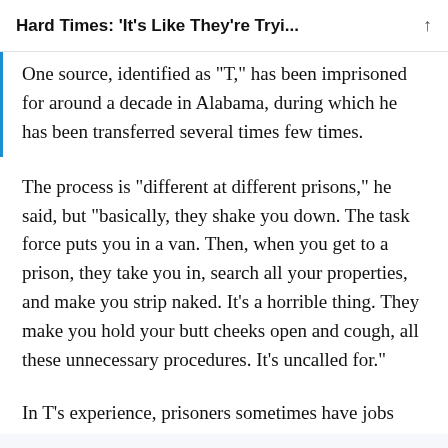Hard Times: ‘It’s Like They’re Tryi…
One source, identified as “T,” has been imprisoned for around a decade in Alabama, during which he has been transferred several times few times.
The process is “different at different prisons,” he said, but “basically, they shake you down. The task force puts you in a van. Then, when you get to a prison, they take you in, search all your properties, and make you strip naked. It’s a horrible thing. They make you hold your butt cheeks open and cough, all these unnecessary procedures. It’s uncalled for.”
In T’s experience, prisoners sometimes have jobs